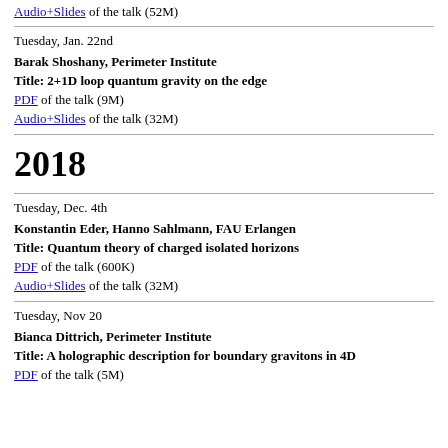Audio+Slides of the talk (52M)
Tuesday, Jan. 22nd
Barak Shoshany, Perimeter Institute
Title: 2+1D loop quantum gravity on the edge
PDF of the talk (9M)
Audio+Slides of the talk (32M)
2018
Tuesday, Dec. 4th
Konstantin Eder, Hanno Sahlmann, FAU Erlangen
Title: Quantum theory of charged isolated horizons
PDF of the talk (600K)
Audio+Slides of the talk (32M)
Tuesday, Nov 20
Bianca Dittrich, Perimeter Institute
Title: A holographic description for boundary gravitons in 4D
PDF of the talk (5M)